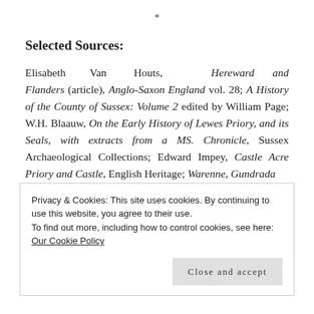*
Selected Sources:
Elisabeth Van Houts, Hereward and Flanders (article), Anglo-Saxon England vol. 28; A History of the County of Sussex: Volume 2 edited by William Page; W.H. Blaauw, On the Early History of Lewes Priory, and its Seals, with extracts from a MS. Chronicle, Sussex Archaeological Collections; Edward Impey, Castle Acre Priory and Castle, English Heritage; Warenne, Gundrada
Privacy & Cookies: This site uses cookies. By continuing to use this website, you agree to their use.
To find out more, including how to control cookies, see here: Our Cookie Policy
Close and accept